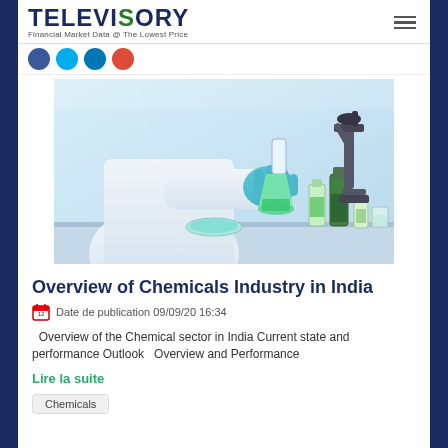TELEVISORY Financial Market Data @ The Lowest Price
[Figure (photo): Laboratory scientist with blue gloves holding a flask, with microscope and green liquid bottles in background]
Overview of Chemicals Industry in India
Date de publication 09/09/20 16:34
Overview of the Chemical sector in India Current state and performance Outlook   Overview and Performance
Lire la suite
Chemicals